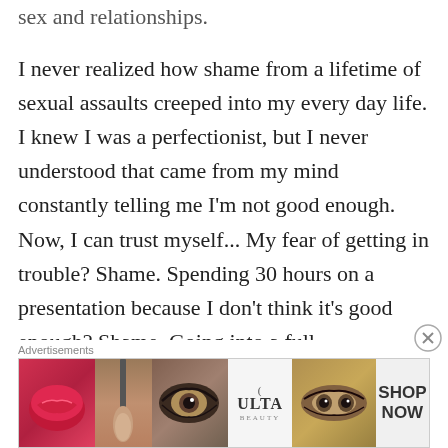sex and relationships.

I never realized how shame from a lifetime of sexual assaults creeped into my every day life. I knew I was a perfectionist, but I never understood that came from my mind constantly telling me I'm not good enough. Now, I can trust myself... My fear of getting in trouble? Shame. Spending 30 hours on a presentation because I don't think it's good enough? Shame. Going into a full fledged panic attack because my boss
[Figure (screenshot): Advertisement banner for ULTA beauty with close button (X). Shows beauty product images including lips with lipstick, a makeup brush, an eye with dramatic makeup, the ULTA logo, eyes with heavy makeup, and a SHOP NOW call to action.]